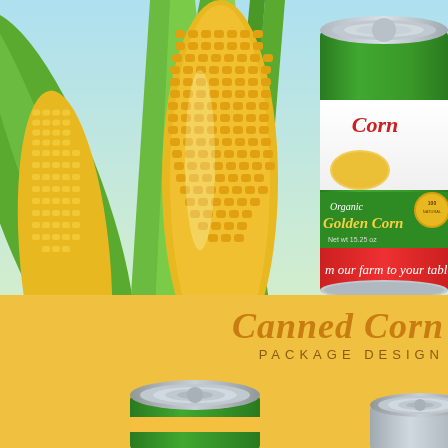[Figure (illustration): Illustration of golden corn ears with green husks on a light blue background, with a green canned corn tin showing 'Organic Golden Corn' label, 'Net wt 15.25 oz', and 'from our farm to your table' text. A green sticker reads 'Golden Corn ORGANIC' with stars. A can of corn with a silver lid is shown with label details including 'Corn' in red and golden script on the can.]
Canned Corn
PACKAGE DESIGN
[Figure (illustration): Two metallic canned corn tins at the bottom of the page — one green-labeled tin on the left and one white/silver tin on the right, both showing the ring-pull tops.]